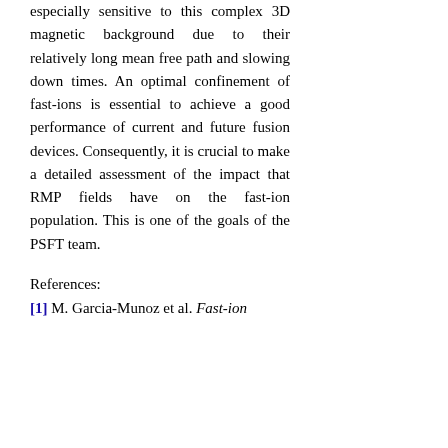especially sensitive to this complex 3D magnetic background due to their relatively long mean free path and slowing down times. An optimal confinement of fast-ions is essential to achieve a good performance of current and future fusion devices. Consequently, it is crucial to make a detailed assessment of the impact that RMP fields have on the fast-ion population. This is one of the goals of the PSFT team.
References:
[1] M. Garcia-Munoz et al. Fast-ion